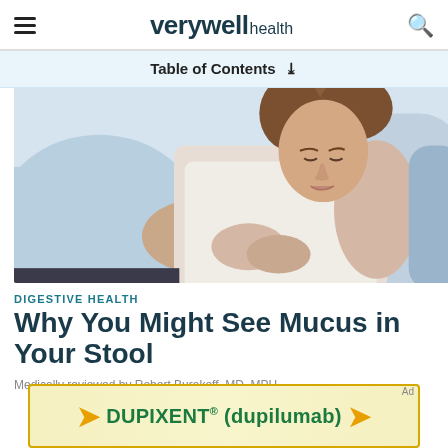verywell health
Table of Contents
[Figure (photo): Doctor examining female patient's abdomen; patient seated, wearing white sleeveless top, doctor's hands on her stomach area]
DIGESTIVE HEALTH
Why You Might See Mucus in Your Stool
Medically reviewed by Robert Burakoff, MD, MPH
[Figure (other): Advertisement banner for DUPIXENT® (dupilumab) with gold arrows on light yellow background]